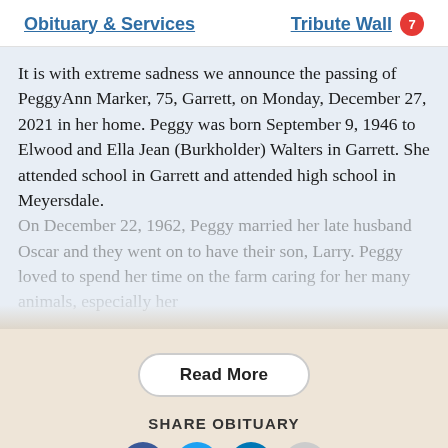Obituary & Services | Tribute Wall 7
It is with extreme sadness we announce the passing of PeggyAnn Marker, 75, Garrett, on Monday, December 27, 2021 in her home. Peggy was born September 9, 1946 to Elwood and Ella Jean (Burkholder) Walters in Garrett. She attended school in Garrett and attended high school in Meyersdale.
On December 22, 1962, Peggy married her late husband Oscar and they went on to have their son, Larry. Peggy loved to spend her time on the farm caring for her many animals, especially her
Read More
SHARE OBITUARY
[Figure (infographic): Social media share icons: Facebook (dark blue), Twitter (light blue), LinkedIn (dark blue), and a grey icon]
Send Flowers
Plant a Tree